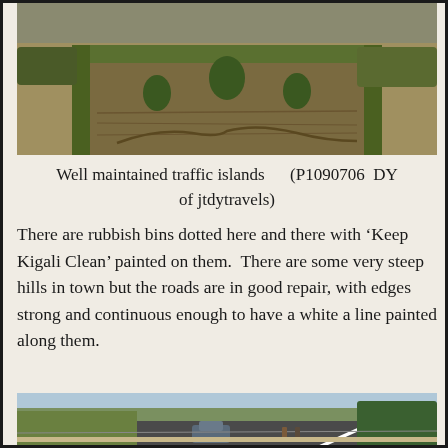[Figure (photo): Photograph of well-maintained traffic islands with grass, shrubs, and trees in Kigali, Rwanda. Aerial or elevated view showing a wide green median with planted vegetation.]
Well maintained traffic islands      (P1090706  DY of jtdytravels)
There are rubbish bins dotted here and there with ‘Keep Kigali Clean’ painted on them.  There are some very steep hills in town but the roads are in good repair, with edges strong and continuous enough to have a white a line painted along them.
[Figure (photo): Photograph of a steep paved road in Kigali with a white line along the edge. Cars and pedestrians visible, flanked by green trees and a hillside.]